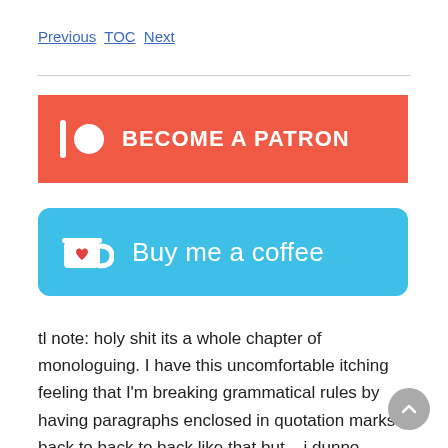Previous TOC Next
[Figure (other): Patreon 'Become a Patron' button — red/orange rectangle with vertical white bar, white circle, and bold white uppercase text 'BECOME A PATRON']
[Figure (other): Buy Me a Coffee button — blue rounded rectangle with coffee cup icon containing a red heart, and white text 'Buy me a coffee']
tl note: holy shit its a whole chapter of monologuing. I have this uncomfortable itching feeling that I'm breaking grammatical rules by having paragraphs enclosed in quotation marks back to back to back like that but... i dunno. Fixing it seems like it would be hard and also make things less easy to understand